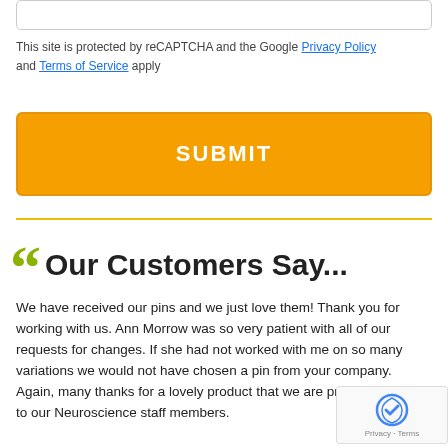This site is protected by reCAPTCHA and the Google Privacy Policy and Terms of Service apply
SUBMIT
Our Customers Say...
We have received our pins and we just love them! Thank you for working with us. Ann Morrow was so very patient with all of our requests for changes. If she had not worked with me on so many variations we would not have chosen a pin from your company. Again, many thanks for a lovely product that we are proud to present to our Neuroscience staff members.